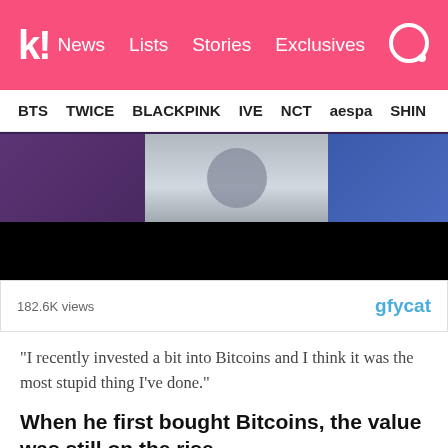k! News Lists Stories Exclusives
BTS TWICE BLACKPINK IVE NCT aespa SHIN
[Figure (photo): Video thumbnail showing three people at a table with microphones, dark background, with view count 182.6K views and gfycat logo]
“I recently invested a bit into Bitcoins and I think it was the most stupid thing I’ve done.”
When he first bought Bitcoins, the value was still on the rise.
“It was in the red-zone when I bought it and I thought it would continue that way.”